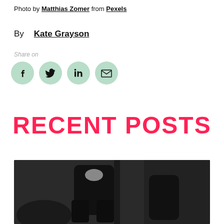Photo by Matthias Zomer from Pexels
By Kate Grayson
Share on
[Figure (illustration): Social share icons: Facebook, Twitter, LinkedIn, Email — all in green circles]
RECENT POSTS
[Figure (photo): Person wearing dark clothing seated on a dark sofa, visible from torso to knees]